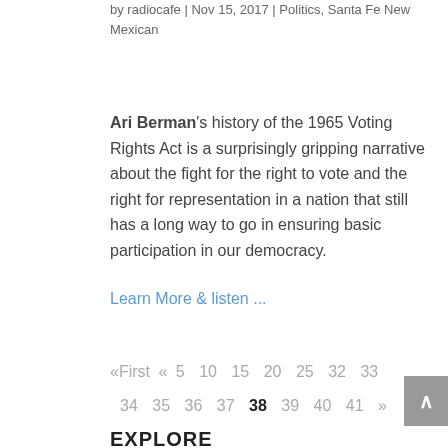by radiocafe | Nov 15, 2017 | Politics, Santa Fe New Mexican
Ari Berman's history of the 1965 Voting Rights Act is a surprisingly gripping narrative about the fight for the right to vote and the right for representation in a nation that still has a long way to go in ensuring basic participation in our democracy.
Learn More & listen ...
«First « 5 10 15 20 25 32 33 34 35 36 37 38 39 40 41 »
EXPLORE
Activism
Arts & films